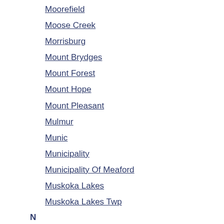Moorefield
Moose Creek
Morrisburg
Mount Brydges
Mount Forest
Mount Hope
Mount Pleasant
Mulmur
Munic
Municipality
Municipality Of Meaford
Muskoka Lakes
Muskoka Lakes Twp
N
Napanee
Naughton